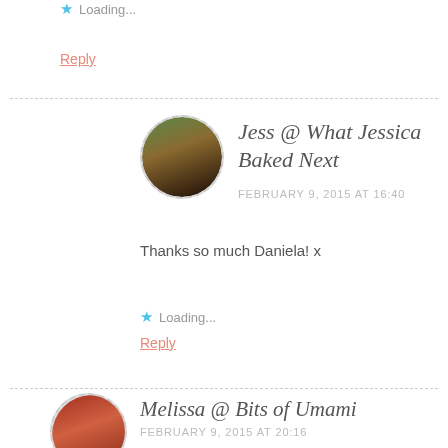Loading...
Reply
Jess @ What Jessica Baked Next
FEBRUARY 9, 2015 AT 16:40
Thanks so much Daniela! x
Loading...
Reply
Melissa @ Bits of Umami
FEBRUARY 9, 2015 AT 20:16